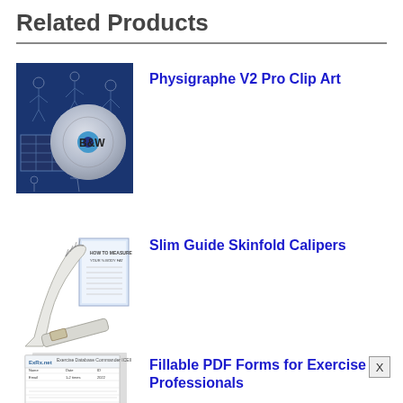Related Products
[Figure (photo): CD/DVD disc with blue background, labeled B&W, product image for Physigraphe V2 Pro Clip Art]
Physigraphe V2 Pro Clip Art
[Figure (photo): Slim Guide skinfold calipers with instruction booklet]
Slim Guide Skinfold Calipers
[Figure (photo): Printed form document pages, ExRx.net Exercise Database Commander form]
Fillable PDF Forms for Exercise Professionals